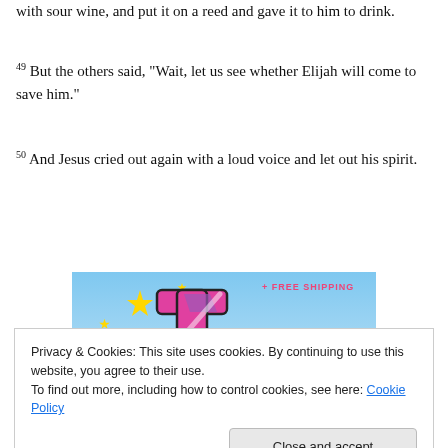with sour wine, and put it on a reed and gave it to him to drink.
49 But the others said, “Wait, let us see whether Elijah will come to save him.”
50 And Jesus cried out again with a loud voice and let out his spirit.
[Figure (screenshot): Advertisement banner with a colorful logo (pink/purple letter t) on a light blue sky background with yellow sparkle stars and text 'FREE SHIPPING' partially visible.]
Privacy & Cookies: This site uses cookies. By continuing to use this website, you agree to their use.
To find out more, including how to control cookies, see here: Cookie Policy
Close and accept